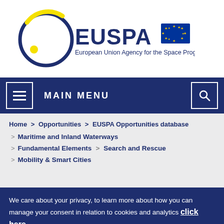[Figure (logo): EUSPA logo — circular emblem with dark blue ring and yellow arc/dot, text 'EUSPA' in dark blue, subtitle 'European Union Agency for the Space Programme', plus EU flag emblem (blue rectangle with yellow stars)]
MAIN MENU
Home > Opportunities > EUSPA Opportunities database > Maritime and Inland Waterways > Fundamental Elements > Search and Rescue > Mobility & Smart Cities
We care about your privacy, to learn more about how you can manage your consent in relation to cookies and analytics click here